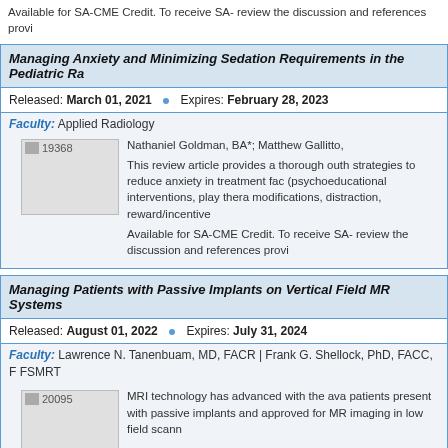Available for SA-CME Credit. To receive SA- review the discussion and references provi
Managing Anxiety and Minimizing Sedation Requirements in the Pediatric Ra
Released: March 01, 2021  •  Expires: February 28, 2023
Faculty: Applied Radiology
[Figure (photo): Image placeholder 19368]
Nathaniel Goldman, BA*; Matthew Gallitto,

This review article provides a thorough outh strategies to reduce anxiety in treatment fac (psychoeducational interventions, play thera modifications, distraction, reward/incentive

Available for SA-CME Credit. To receive SA- review the discussion and references provi
Managing Patients with Passive Implants on Vertical Field MR Systems
Released: August 01, 2022  •  Expires: July 31, 2024
Faculty: Lawrence N. Tanenbuam, MD, FACR | Frank G. Shellock, PhD, FACC, F FSMRT
[Figure (photo): Image placeholder 20095]
MRI technology has advanced with the ava patients present with passive implants and approved for MR imaging in low field scann